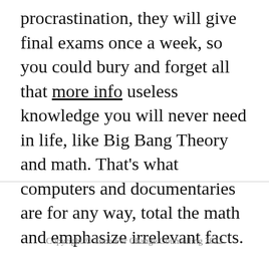procrastination, they will give final exams once a week, so you could bury and forget all that more info useless knowledge you will never need in life, like Big Bang Theory and math. That's what computers and documentaries are for any way, total the math and emphasize irrelevant facts.
Copyright © Time For Change Counselling 2022